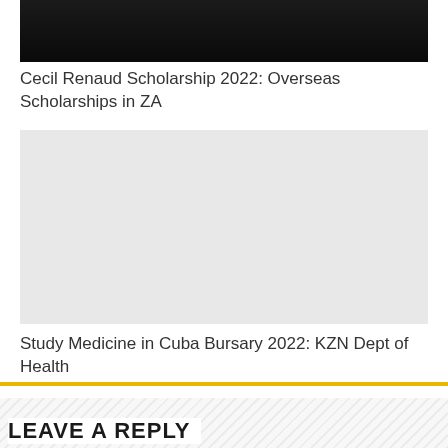[Figure (photo): Partial dark/black photograph visible at the top of the page, appears to show a person against a dark background]
Cecil Renaud Scholarship 2022: Overseas Scholarships in ZA
[Figure (photo): Light grey placeholder image for Study Medicine in Cuba Bursary article]
Study Medicine in Cuba Bursary 2022: KZN Dept of Health
LEAVE A REPLY